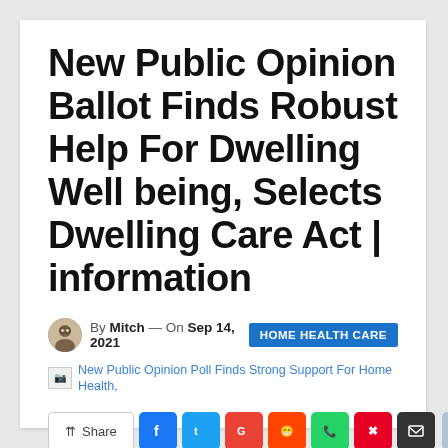New Public Opinion Ballot Finds Robust Help For Dwelling Well being, Selects Dwelling Care Act | information
By Mitch — On Sep 14, 2021   HOME HEALTH CARE
New Public Opinion Poll Finds Strong Support For Home Health,
Share [social share buttons: Facebook, Twitter, Google, Reddit, WhatsApp, Pinterest, Email]